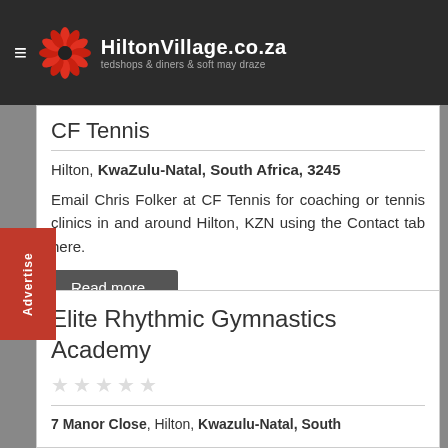HiltonVillage.co.za — tedshops & diners & soft may draze
CF Tennis
Hilton, KwaZulu-Natal, South Africa, 3245
Email Chris Folker at CF Tennis for coaching or tennis clinics in and around Hilton, KZN using the Contact tab here.
Read more...
Elite Rhythmic Gymnastics Academy
★★★★★
7 Manor Close, Hilton, Kwazulu-Natal, South